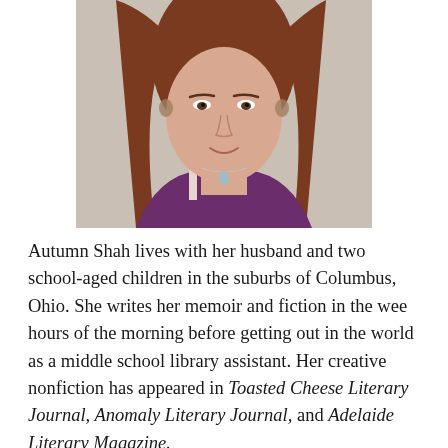[Figure (photo): Portrait photo of Autumn Shah, a woman with long reddish-brown hair, wearing a purple top and a delicate necklace with a teardrop pendant, photographed from shoulders up against a light stone background.]
Autumn Shah lives with her husband and two school-aged children in the suburbs of Columbus, Ohio. She writes her memoir and fiction in the wee hours of the morning before getting out in the world as a middle school library assistant. Her creative nonfiction has appeared in Toasted Cheese Literary Journal, Anomaly Literary Journal, and Adelaide Literary Magazine.